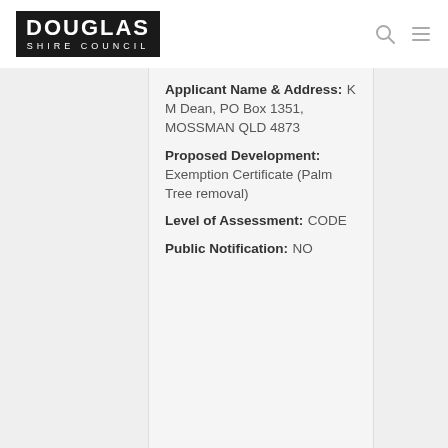[Figure (logo): Douglas Shire Council logo — white text on black background]
Applicant Name & Address: K M Dean, PO Box 1351, MOSSMAN QLD 4873
Proposed Development: Exemption Certificate (Palm Tree removal)
Level of Assessment: CODE
Public Notification: NO